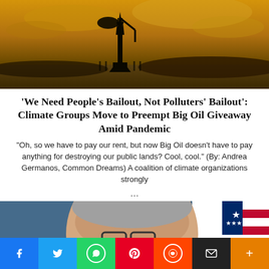[Figure (photo): Oil pump jack silhouette against a dramatic golden-orange sunset sky with clouds]
‘We Need People’s Bailout, Not Polluters’ Bailout’: Climate Groups Move to Preempt Big Oil Giveaway Amid Pandemic
“Oh, so we have to pay our rent, but now Big Oil doesn’t have to pay anything for destroying our public lands? Cool, cool.” (By: Andrea Germanos, Common Dreams) A coalition of climate organizations strongly ...
[Figure (photo): A man with glasses smiling in front of a blue background with an American flag visible on the right]
[Figure (infographic): Social media share bar with Facebook, Twitter, WhatsApp, Pinterest, Reddit, Email, and More buttons]